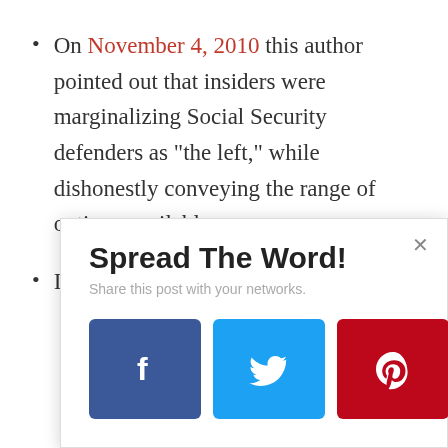On November 4, 2010 this author pointed out that insiders were marginalizing Social Security defenders as “the left,” while dishonestly conveying the range of options available.
In a piece that ran on November 16,
Spread The Word!
Share this post with your networks.